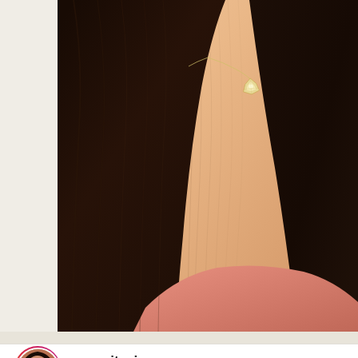[Figure (photo): Close-up photo of a woman with long dark hair showing her neck and chest area with a small diamond necklace pendant, wearing a pink top. The photo is cropped showing mostly hair, skin, and necklace detail.]
senorita_joycee
112K followers
[Figure (photo): Portrait photo of a woman with wavy dark hair against a dark grey background, looking directly at camera with a serious expression. She has defined features and is photographed in a professional studio style with dramatic lighting.]